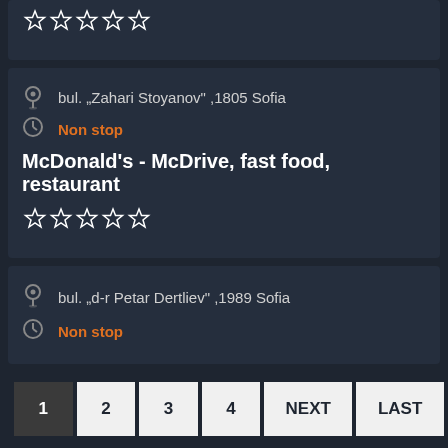☆ ☆ ☆ ☆ ☆
bul. „Zahari Stoyanov" ,1805 Sofia
Non stop
McDonald's - McDrive, fast food, restaurant
☆ ☆ ☆ ☆ ☆
bul. „d-r Petar Dertliev" ,1989 Sofia
Non stop
1 2 3 4 NEXT LAST
[Figure (logo): 24x7 logo in metallic silver and orange]